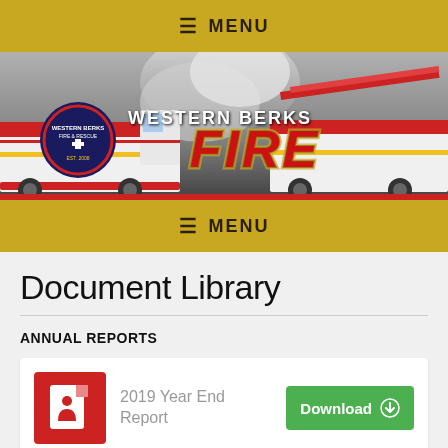MENU
[Figure (photo): Western Berks Fire & Rescue banner image showing two fire trucks with department logo and text 'WESTERN BERKS FIRE']
MENU
Document Library
ANNUAL REPORTS
2019 Year End Report  Download